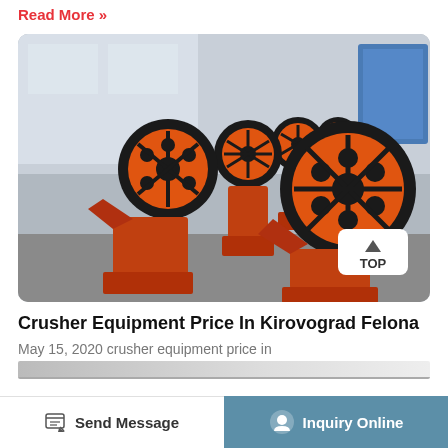Read More »
[Figure (photo): Multiple orange and black jaw crusher machines lined up in a row in an industrial warehouse]
Crusher Equipment Price In Kirovograd Felona
May 15, 2020 crusher equipment price in kirovograd...
Send Message
Inquiry Online